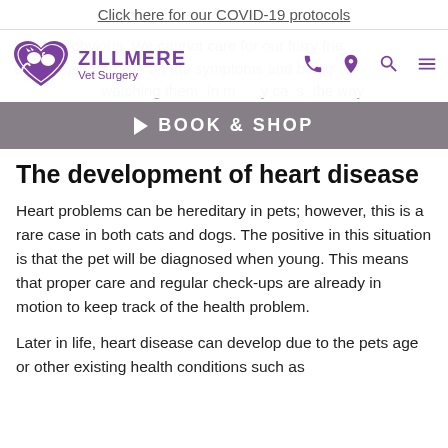Click here for our COVID-19 protocols
[Figure (logo): Zillmere Vet Surgery logo with heart shape containing cat and dog, purple color scheme, with navigation icons (phone, location pin, search, hamburger menu)]
become obvious. We cannot care for our furry frie through keeping an eye on the symptoms and being watching them. In many cases, the way we can help our pet's heart, will help our own as well.
BOOK & SHOP
The development of heart disease
Heart problems can be hereditary in pets; however, this is a rare case in both cats and dogs. The positive in this situation is that the pet will be diagnosed when young. This means that proper care and regular check-ups are already in motion to keep track of the health problem.
Later in life, heart disease can develop due to the pets age or other existing health conditions such as